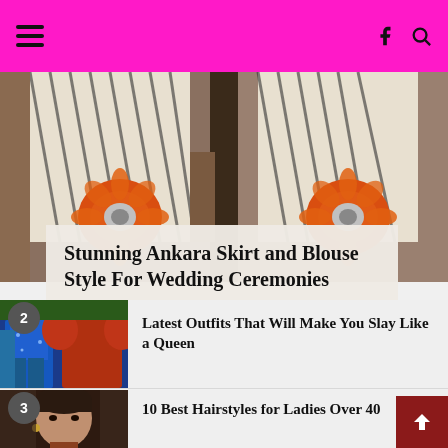Navigation bar with hamburger menu, Facebook icon, and search icon
[Figure (photo): Close-up photograph of women wearing black and white Ankara patterned skirt with orange floral print detail, two people visible side by side]
Stunning Ankara Skirt and Blouse Style For Wedding Ceremonies
[Figure (photo): Thumbnail photo of women wearing colorful African outfits including blue sparkle top with jeans and red balloon sleeve dress, numbered item 2]
Latest Outfits That Will Make You Slay Like a Queen
[Figure (photo): Thumbnail photo of woman with short hair, numbered item 3]
10 Best Hairstyles for Ladies Over 40